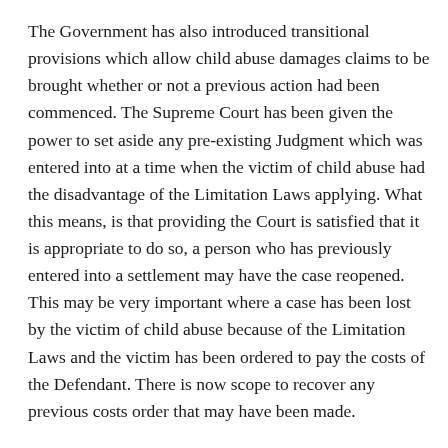The Government has also introduced transitional provisions which allow child abuse damages claims to be brought whether or not a previous action had been commenced. The Supreme Court has been given the power to set aside any pre-existing Judgment which was entered into at a time when the victim of child abuse had the disadvantage of the Limitation Laws applying. What this means, is that providing the Court is satisfied that it is appropriate to do so, a person who has previously entered into a settlement may have the case reopened. This may be very important where a case has been lost by the victim of child abuse because of the Limitation Laws and the victim has been ordered to pay the costs of the Defendant. There is now scope to recover any previous costs order that may have been made.
This opens the door for the unfortunate victims of child